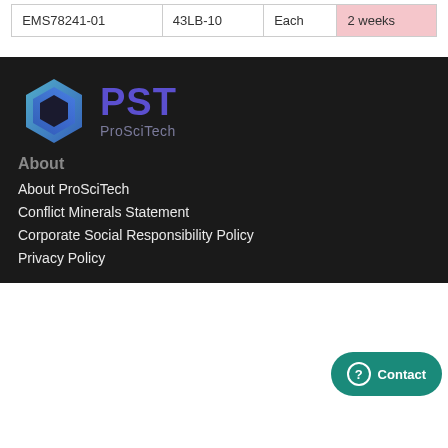| EMS78241-01 | 43LB-10 | Each | 2 weeks |
[Figure (logo): ProSciTech logo with hexagonal icon in blue/teal gradient and purple PST text with ProSciTech subtitle]
About
About ProSciTech
Conflict Minerals Statement
Corporate Social Responsibility Policy
Privacy Policy